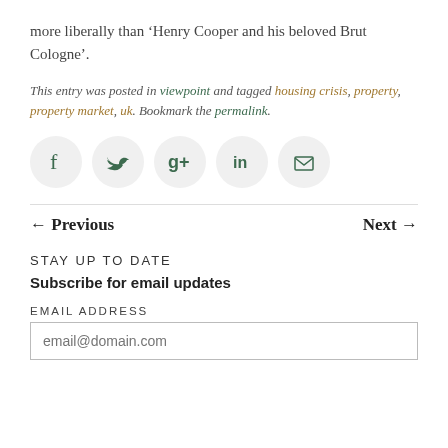more liberally than ‘Henry Cooper and his beloved Brut Cologne’.
This entry was posted in viewpoint and tagged housing crisis, property, property market, uk. Bookmark the permalink.
[Figure (infographic): Social sharing icons: Facebook, Twitter, Google+, LinkedIn, Email — each in a light grey circle]
← Previous
Next →
STAY UP TO DATE
Subscribe for email updates
EMAIL ADDRESS
email@domain.com